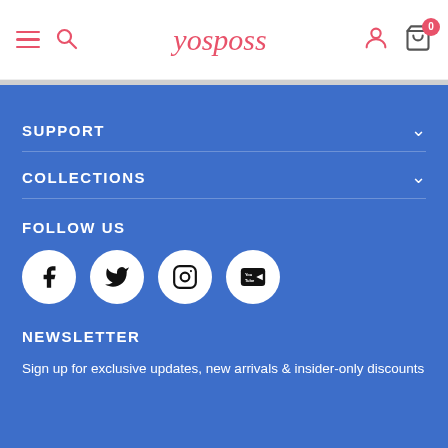yosposs — navigation header with hamburger, search, logo, user icon, cart (0)
SUPPORT
COLLECTIONS
FOLLOW US
[Figure (other): Social media icons: Facebook, Twitter, Instagram, YouTube — white circles on blue background]
NEWSLETTER
Sign up for exclusive updates, new arrivals & insider-only discounts